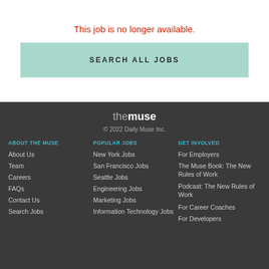This job is no longer available.
SEARCH ALL JOBS
[Figure (logo): The Muse logo — 'the' in light gray and 'muse' in bold white, lowercase, sans-serif font]
© 2022 Daily Muse Inc.
ABOUT THE MUSE
POPULAR JOBS
GET INVOLVED
About Us
New York Jobs
For Employers
Team
San Francisco Jobs
The Muse Book: The New Rules of Work
Careers
Seattle Jobs
Podcast: The New Rules of Work
FAQs
Engineering Jobs
For Career Coaches
Contact Us
Marketing Jobs
For Developers
Search Jobs
Information Technology Jobs